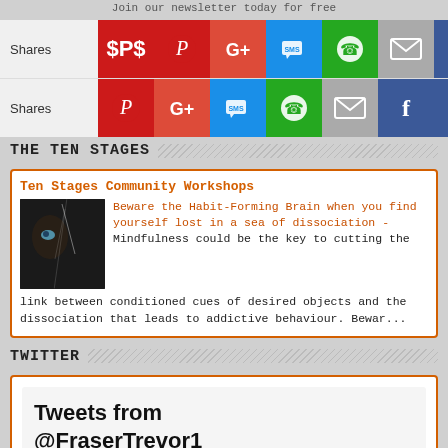Join our newsletter today for free
[Figure (screenshot): Social share bar row 1 with Pinterest, Google+, SMS, WhatsApp, Email, Facebook, King icons. Label: Shares]
[Figure (screenshot): Social share bar row 2 with Pinterest, Google+, SMS, WhatsApp, Email, Facebook, King icons. Label: Shares]
THE TEN STAGES
[Figure (screenshot): Card with image of a person's face and orange-titled article about Ten Stages Community Workshops]
Ten Stages Community Workshops Beware the Habit-Forming Brain when you find yourself lost in a sea of dissociation - Mindfulness could be the key to cutting the link between conditioned cues of desired objects and the dissociation that leads to addictive behaviour. Bewar...
TWITTER
Tweets from @FraserTrevor1